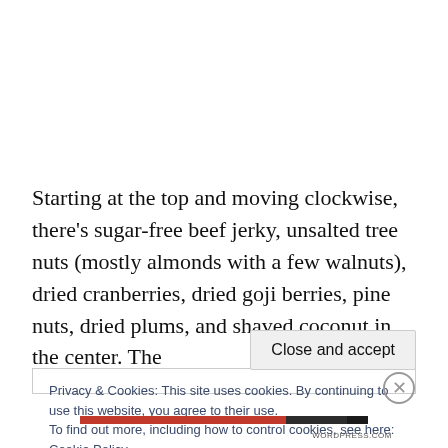Starting at the top and moving clockwise, there's sugar-free beef jerky, unsalted tree nuts (mostly almonds with a few walnuts), dried cranberries, dried goji berries, pine nuts, dried plums, and shaved coconut in the center. The
Privacy & Cookies: This site uses cookies. By continuing to use this website, you agree to their use.
To find out more, including how to control cookies, see here: Cookie Policy
Close and accept